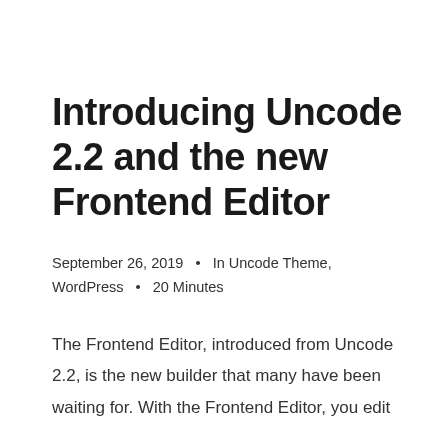Introducing Uncode 2.2 and the new Frontend Editor
September 26, 2019  •  In Uncode Theme, WordPress  •  20 Minutes
The Frontend Editor, introduced from Uncode 2.2, is the new builder that many have been waiting for. With the Frontend Editor, you edit